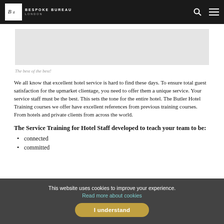Bespoke Bureau London
[Figure (photo): Hero image placeholder (light gray rectangle)]
The best of the best!
We all know that excellent hotel service is hard to find these days. To ensure total guest satisfaction for the upmarket clientage, you need to offer them a unique service. Your service staff must be the best. This sets the tone for the entire hotel. The Butler Hotel Training courses we offer have excellent references from previous training courses. From hotels and private clients from across the world.
The Service Training for Hotel Staff developed to teach your team to be:
connected
committed
This website uses cookies to improve your experience. Read more about cookies